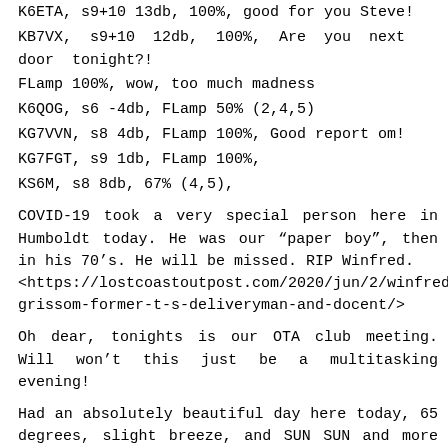K6ETA, s9+10 13db, 100%, good for you Steve!
KB7VX, s9+10 12db, 100%, Are you next door tonight?!
FLamp 100%, wow, too much madness
K6QOG, s6 -4db, FLamp 50% (2,4,5)
KG7VVN, s8 4db, FLamp 100%, Good report om!
KG7FGT, s9 1db, FLamp 100%,
KS6M, s8 8db, 67% (4,5),
COVID-19 took a very special person here in Humboldt today. He was our “paper boy”, then in his 70’s. He will be missed. RIP Winfred. <https://lostcoastoutpost.com/2020/jun/2/winfred-grissom-former-t-s-deliveryman-and-docent/>
Oh dear, tonights is our OTA club meeting. Will won’t this just be a multitasking evening!
Had an absolutely beautiful day here today, 65 degrees, slight breeze, and SUN SUN and more SUN.
Today I delivered a high gain VHF/UHF antenna, mount, &